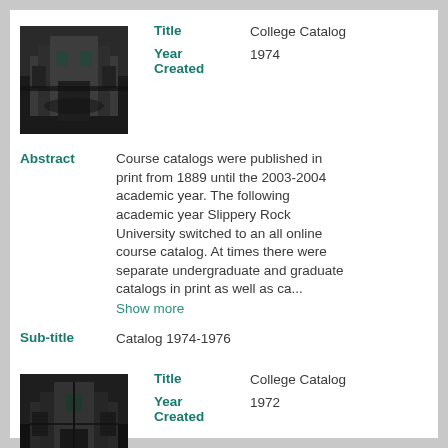[Figure (photo): Thumbnail image of a college catalog cover, dark toned photo of a building]
Title: College Catalog
Year Created: 1974
Abstract: Course catalogs were published in print from 1889 until the 2003-2004 academic year. The following academic year Slippery Rock University switched to an all online course catalog. At times there were separate undergraduate and graduate catalogs in print as well as ca... Show more
Sub-title: Catalog 1974-1976
[Figure (photo): Thumbnail image of a college catalog cover, dark toned photo]
Title: College Catalog
Year Created: 1972